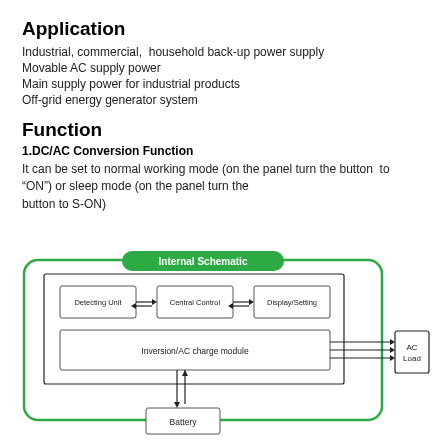Application
Industrial, commercial,  household back-up power supply
Movable AC supply power
Main supply power for industrial products
Off-grid energy generator system
Function
1.DC/AC Conversion Function
It can be set to normal working mode (on the panel turn the button  to “ON”) or sleep mode (on the panel turn the button to S-ON)
[Figure (schematic): Internal schematic block diagram showing Detecting Unit, Central Control, Display/Setting blocks connected in a row, with an Inversion/AC charge module below, connected to Battery at the bottom and AC Load on the right. All enclosed in a green rounded rectangle labeled 'Internal Schematic'.]